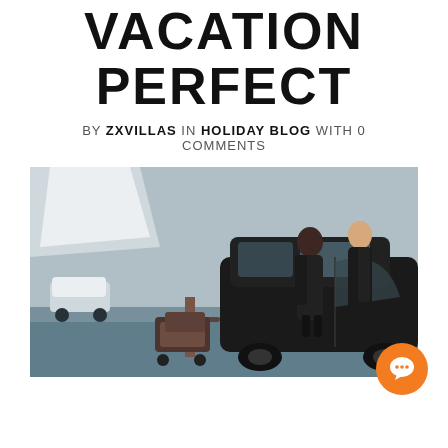VACATION PERFECT
BY ZXVILLAS IN HOLIDAY BLOG WITH 0 COMMENTS
[Figure (photo): Two people in formal attire near a black luxury car at an airport, with luggage on a trolley and a modern terminal building in the background.]